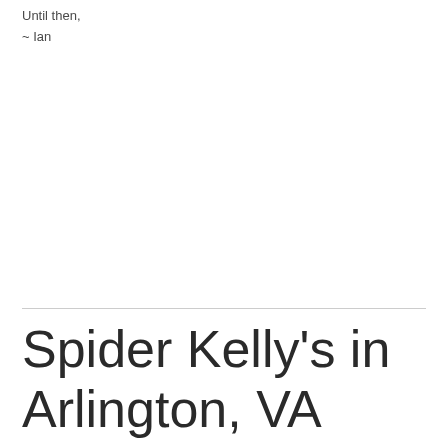Until then,
~ Ian
Spider Kelly's in Arlington, VA